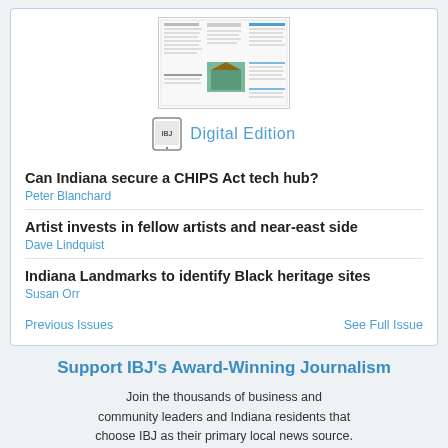[Figure (screenshot): Thumbnail of a newspaper front page (IBJ digital edition)]
Digital Edition
Can Indiana secure a CHIPS Act tech hub?
Peter Blanchard
Artist invests in fellow artists and near-east side
Dave Lindquist
Indiana Landmarks to identify Black heritage sites
Susan Orr
Previous Issues
See Full Issue
Support IBJ's Award-Winning Journalism
Join the thousands of business and community leaders and Indiana residents that choose IBJ as their primary local news source.